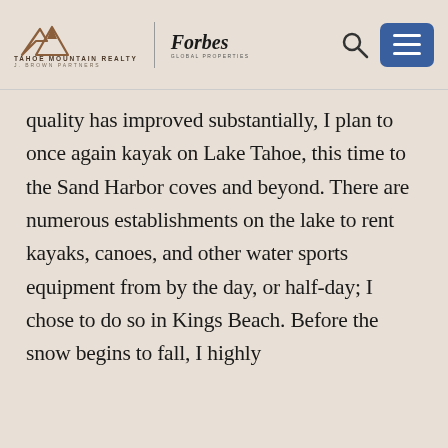TAHOE MOUNTAIN REALTY | Forbes Global Properties
quality has improved substantially, I plan to once again kayak on Lake Tahoe, this time to the Sand Harbor coves and beyond. There are numerous establishments on the lake to rent kayaks, canoes, and other water sports equipment from by the day, or half-day; I chose to do so in Kings Beach. Before the snow begins to fall, I highly